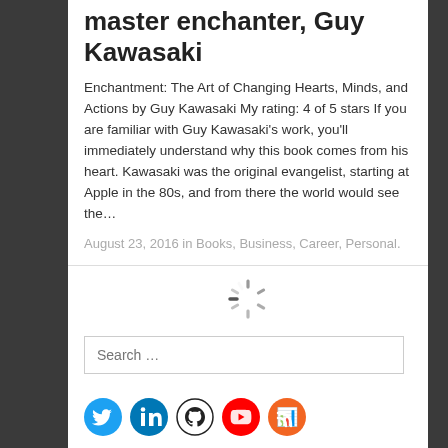master enchanter, Guy Kawasaki
Enchantment: The Art of Changing Hearts, Minds, and Actions by Guy Kawasaki My rating: 4 of 5 stars If you are familiar with Guy Kawasaki's work, you'll immediately understand why this book comes from his heart. Kawasaki was the original evangelist, starting at Apple in the 80s, and from there the world would see the…
August 23, 2016 in Books, Business, Career, Personal.
[Figure (other): Loading spinner / activity indicator icon]
Search …
[Figure (other): Social media icons: Twitter, LinkedIn, GitHub, YouTube, RSS/Slideshare]